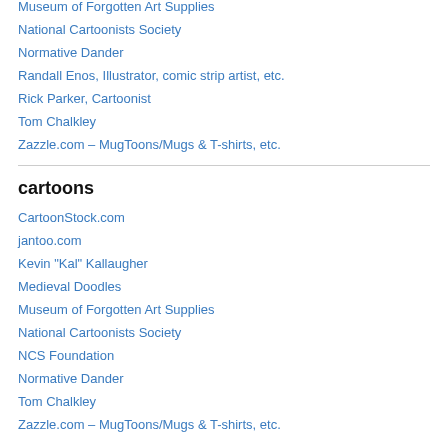Museum of Forgotten Art Supplies
National Cartoonists Society
Normative Dander
Randall Enos, Illustrator, comic strip artist, etc.
Rick Parker, Cartoonist
Tom Chalkley
Zazzle.com – MugToons/Mugs & T-shirts, etc.
cartoons
CartoonStock.com
jantoo.com
Kevin "Kal" Kallaugher
Medieval Doodles
Museum of Forgotten Art Supplies
National Cartoonists Society
NCS Foundation
Normative Dander
Tom Chalkley
Zazzle.com – MugToons/Mugs & T-shirts, etc.